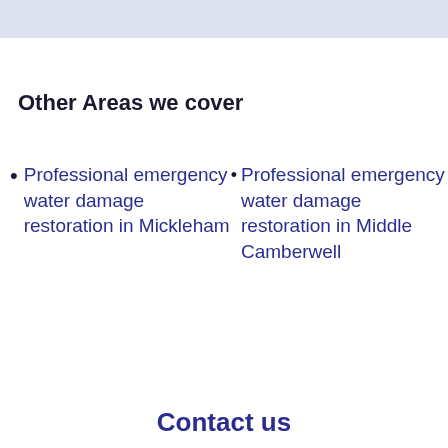Other Areas we cover
Professional emergency water damage restoration in Mickleham
Professional emergency water damage restoration in Middle Camberwell
Contact us